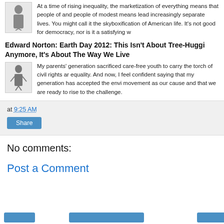At a time of rising inequality, the marketization of everything means that people of and people of modest means lead increasingly separate lives. You might call it the skyboxification of American life. It's not good for democracy, nor is it a satisfying w
Edward Norton: Earth Day 2012: This Isn't About Tree-Huggi Anymore, It's About The Way We Live
My parents' generation sacrificed care-free youth to carry the torch of civil rights ar equality. And now, I feel confident saying that my generation has accepted the envi movement as our cause and that we are ready to rise to the challenge.
at 9:25 AM
Share
No comments:
Post a Comment